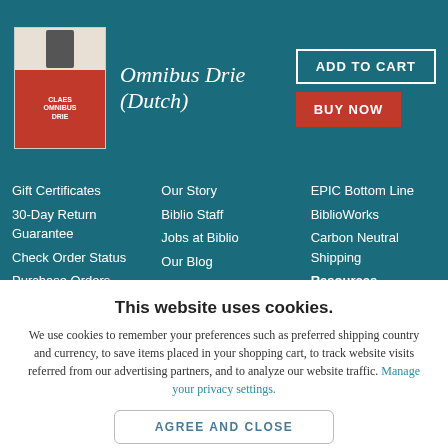[Figure (illustration): Book cover for Omnibus Drie (Dutch) with a dark background and red/orange text block]
Omnibus Drie (Dutch)
ADD TO CART
BUY NOW
Gift Certificates
30-Day Return Guarantee
Check Order Status
Purchase Orders
Coupons & Promos
Affiliate Program
Our Story
Biblio Staff
Jobs at Biblio
Our Blog
Link to Us
Contact Us
EPIC Bottom Line
BiblioWorks
Carbon Neutral Shipping
Resources
Book Collecting
Book Collecting
This website uses cookies.
We use cookies to remember your preferences such as preferred shipping country and currency, to save items placed in your shopping cart, to track website visits referred from our advertising partners, and to analyze our website traffic. Manage your privacy settings.
AGREE AND CLOSE